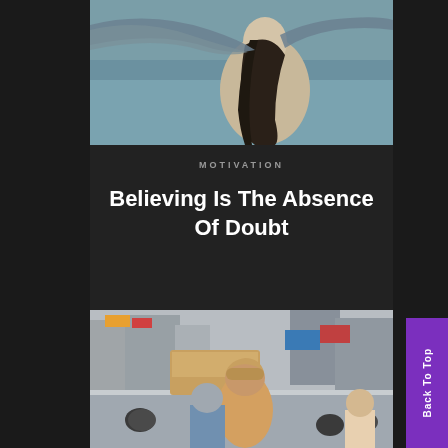[Figure (photo): Woman seen from behind with long dark hair, holding a grey scarf/fabric that blows in the wind against a muted teal/grey water background]
MOTIVATION
Believing Is The Absence Of Doubt
[Figure (photo): Busy street scene from behind, people on motorcycles and a bus, crowded Asian city street with shops and signs, person with short hair visible in foreground]
Back To Top